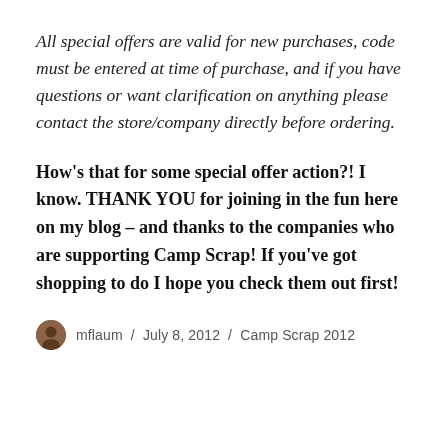All special offers are valid for new purchases, code must be entered at time of purchase, and if you have questions or want clarification on anything please contact the store/company directly before ordering.
How's that for some special offer action?! I know. THANK YOU for joining in the fun here on my blog – and thanks to the companies who are supporting Camp Scrap! If you've got shopping to do I hope you check them out first!
mflaum / July 8, 2012 / Camp Scrap 2012